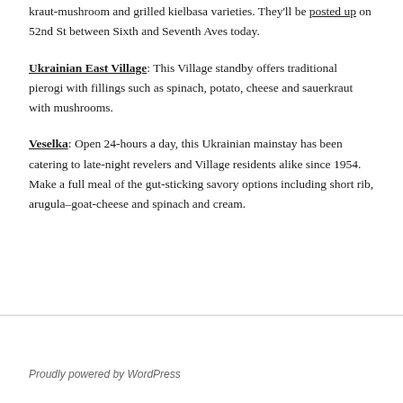kraut-mushroom and grilled kielbasa varieties. They'll be posted up on 52nd St between Sixth and Seventh Aves today.
Ukrainian East Village: This Village standby offers traditional pierogi with fillings such as spinach, potato, cheese and sauerkraut with mushrooms.
Veselka: Open 24-hours a day, this Ukrainian mainstay has been catering to late-night revelers and Village residents alike since 1954. Make a full meal of the gut-sticking savory options including short rib, arugula–goat-cheese and spinach and cream.
Proudly powered by WordPress